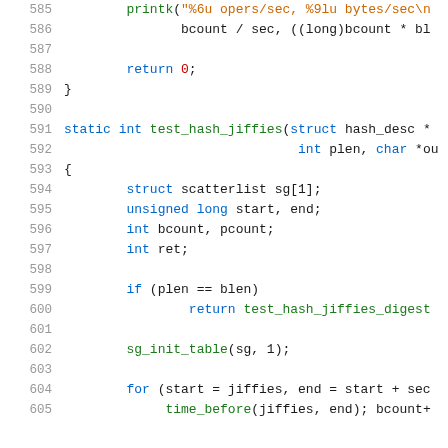[Figure (screenshot): Source code listing in C showing lines 585–605 of a kernel crypto test file. Syntax highlighted with blue keywords, green identifiers, and orange string literals. Lines include printk call, return statement, closing brace, test_hash_jiffies function declaration, and body with variable declarations and control flow.]